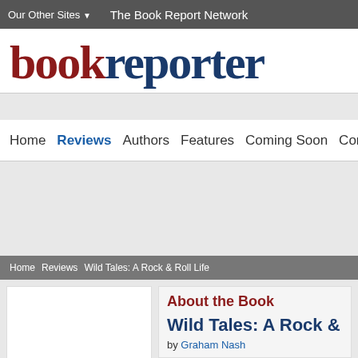Our Other Sites ▼    The Book Report Network
[Figure (logo): bookreporter logo with 'book' in dark red and 'reporter' in dark blue, large serif font]
Home  Reviews  Authors  Features  Coming Soon  Conte
Home > Reviews > Wild Tales: A Rock & Roll Life
About the Book
Wild Tales: A Rock &
by Graham Nash